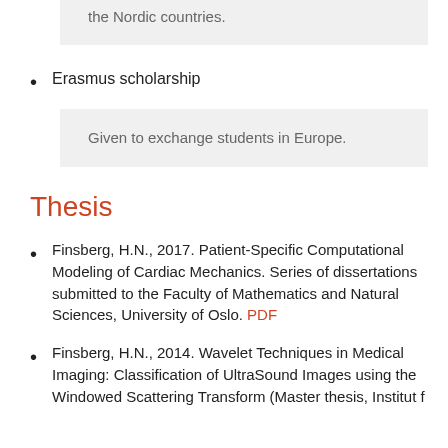the Nordic countries.
Erasmus scholarship
Given to exchange students in Europe.
Thesis
Finsberg, H.N., 2017. Patient-Specific Computational Modeling of Cardiac Mechanics. Series of dissertations submitted to the Faculty of Mathematics and Natural Sciences, University of Oslo. PDF
Finsberg, H.N., 2014. Wavelet Techniques in Medical Imaging: Classification of UltraSound Images using the Windowed Scattering Transform (Master thesis, Institut f...